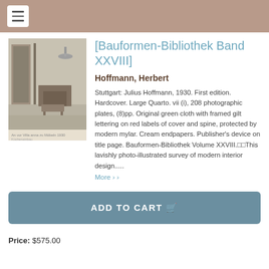[Bauformen-Bibliothek Band XXVIII]
Hoffmann, Herbert
[Figure (photo): Black and white photograph of a modern interior room with furniture including chairs and a low table, in Bauhaus style.]
Stuttgart: Julius Hoffmann, 1930. First edition. Hardcover. Large Quarto. vii (i), 208 photographic plates, (8)pp. Original green cloth with framed gilt lettering on red labels of cover and spine, protected by modern mylar. Cream endpapers. Publisher's device on title page. Bauformen-Bibliothek Volume XXVIII.  This lavishly photo-illustrated survey of modern interior design.....
More >
ADD TO CART
Price: $575.00